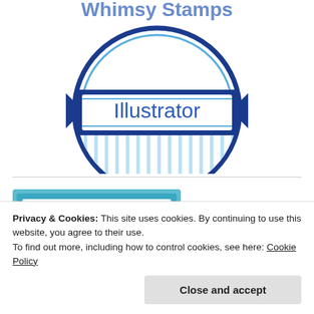[Figure (logo): Circular badge logo with dark blue border, banner reading 'Illustrator' in blue sans-serif font, light blue vertical stripes in lower half, partial top text cut off]
[Figure (illustration): Teal/blue bordered card with text 'STAMP ARTIST' in pink/salmon spaced lettering]
Privacy & Cookies: This site uses cookies. By continuing to use this website, you agree to their use.
To find out more, including how to control cookies, see here: Cookie Policy
Close and accept